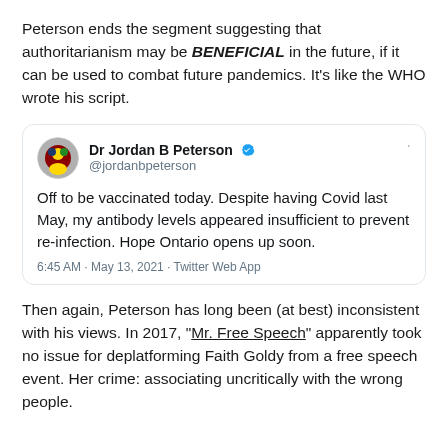Peterson ends the segment suggesting that authoritarianism may be BENEFICIAL in the future, if it can be used to combat future pandemics. It's like the WHO wrote his script.
[Figure (screenshot): Embedded tweet from Dr Jordan B Peterson (@jordanbpeterson): 'Off to be vaccinated today. Despite having Covid last May, my antibody levels appeared insufficient to prevent re-infection. Hope Ontario opens up soon.' — 6:45 AM · May 13, 2021 · Twitter Web App]
Then again, Peterson has long been (at best) inconsistent with his views. In 2017, "Mr. Free Speech" apparently took no issue for deplatforming Faith Goldy from a free speech event. Her crime: associating uncritically with the wrong people.